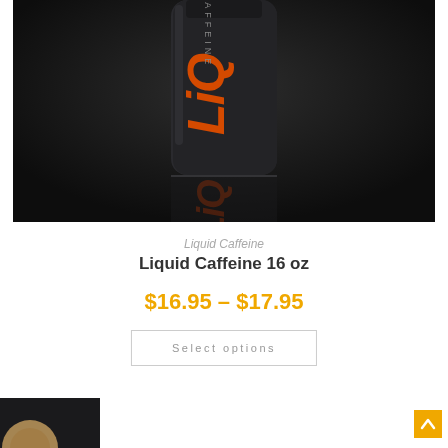[Figure (photo): Product photo of Liquid Caffeine bottle on dark background with orange/red branding, with reflection below]
Liquid Caffeine
Liquid Caffeine 16 oz
$16.95 – $17.95
Select options
[Figure (photo): Partial bottom strip showing beginning of another product image on dark background]